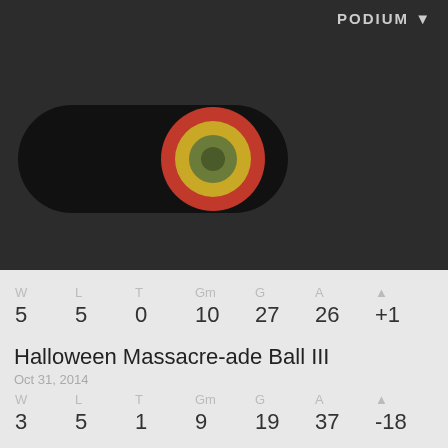PODIUM ▼
[Figure (illustration): Dark rounded rectangle toggle with concentric circle target/bullseye icon in red, yellow, and green on dark background]
| W | L | T | Gm | G | A | Δ |
| --- | --- | --- | --- | --- | --- | --- |
| 5 | 5 | 0 | 10 | 27 | 26 | +1 |
Halloween Massacre-ade Ball III
Oct 31, 2014
| W | L | T | Gm | G | A | Δ |
| --- | --- | --- | --- | --- | --- | --- |
| 3 | 5 | 1 | 9 | 19 | 37 | -18 |
Hell on the Hardcourt IV
Aug 29, 2014
| W | L | T | Gm | G | A | Δ |
| --- | --- | --- | --- | --- | --- | --- |
| 2 | 5 | 0 | 7 | 16 | 24 | -8 |